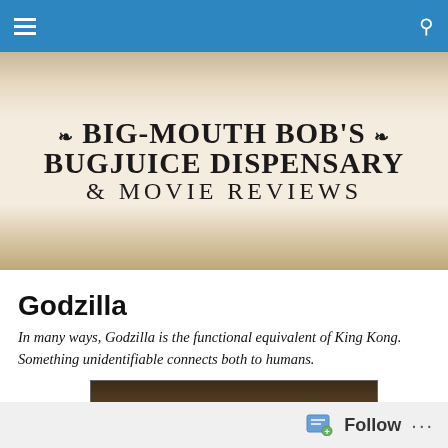Big-Mouth Bob's Bugjuice Dispensary & Movie Reviews
[Figure (logo): Website banner logo with decorative woodcut-style typography reading 'Big-Mouth Bob's Bugjuice Dispensary & Movie Reviews' on a wood-grain textured background]
Godzilla
In many ways, Godzilla is the functional equivalent of King Kong. Something unidentifiable connects both to humans.
[Figure (photo): Dark brown/sepia photograph of Godzilla monster figure, partially visible]
Follow